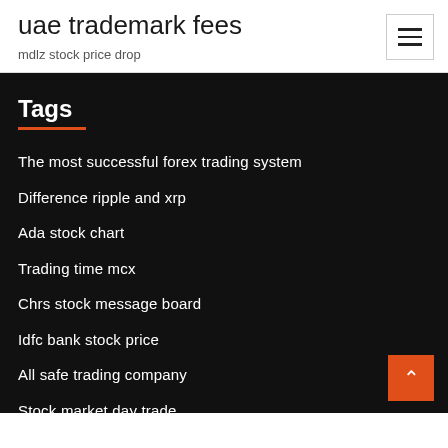uae trademark fees
mdlz stock price drop
Tags
The most successful forex trading system
Difference ripple and xrp
Ada stock chart
Trading time mcx
Chrs stock message board
Idfc bank stock price
All safe trading company
Stock market day trade